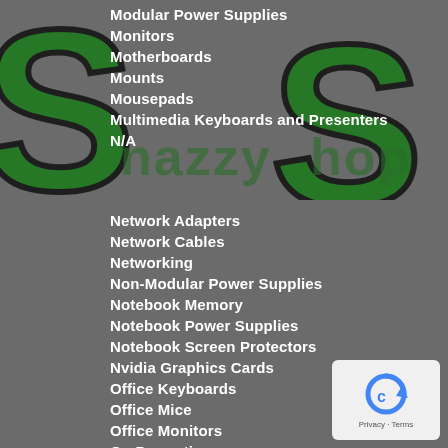[Figure (logo): SnazzyShop logo with large green and black stylized S letters and 'nazzyhop' text in the background on dark grey]
Modular Power Supplies
Monitors
Motherboards
Mounts
Mousepads
Multimedia Keyboards and Presenters
N/A
Network Adapters
Network Cables
Networking
Non-Modular Power Supplies
Notebook Memory
Notebook Power Supplies
Notebook Screen Protectors
Nvidia Graphics Cards
Office Keyboards
Office Mice
Office Monitors
On Promotion
Optical Dri...
[Figure (other): Google reCAPTCHA badge with Privacy and Terms text]